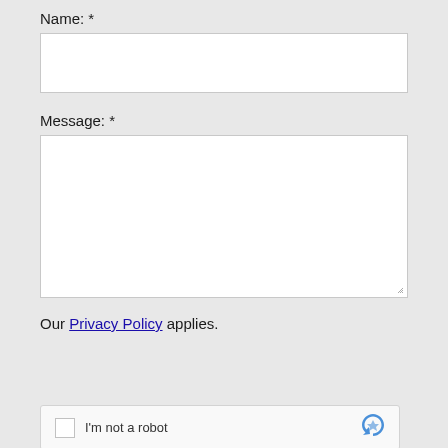Name: *
[Figure (screenshot): Empty text input field for Name]
Message: *
[Figure (screenshot): Empty textarea input field for Message with resize handle]
Our Privacy Policy applies.
[Figure (screenshot): reCAPTCHA widget with checkbox and 'I'm not a robot' text and reCAPTCHA logo]